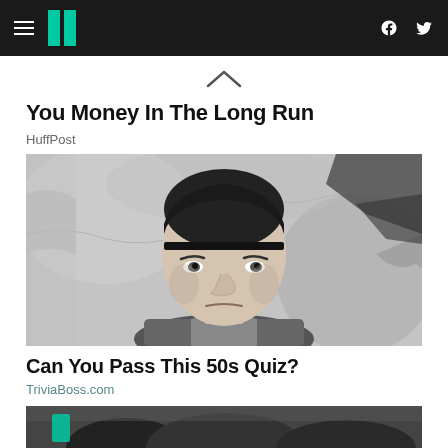HuffPost navigation bar with hamburger menu, logo, facebook and twitter icons
You Money In The Long Run
HuffPost
[Figure (photo): Black and white photograph of a man with a headband around his forehead, looking intensely at the camera, standing near a stone or rock wall]
Can You Pass This 50s Quiz?
TriviaBoss.com
[Figure (photo): Partial black and white photograph, cropped at bottom of page, showing dark clothing/figures]